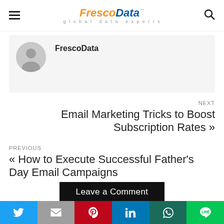FrescoData global data experts
[Figure (other): Avatar placeholder icon for FrescoData author]
FrescoData
NEXT
Email Marketing Tricks to Boost Subscription Rates »
PREVIOUS
« How to Execute Successful Father's Day Email Campaigns
Leave a Comment